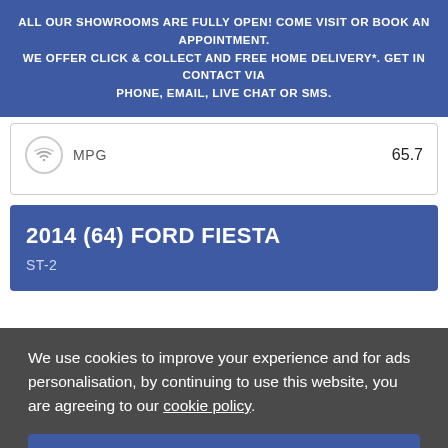ALL OUR SHOWROOMS ARE FULLY OPEN! COME VISIT OR BOOK AN APPOINTMENT. WE OFFER CLICK & COLLECT AND FREE HOME DELIVERY*. GET IN CONTACT VIA PHONE, EMAIL, LIVE CHAT OR SMS.
|  | MPG |  |
| --- | --- | --- |
|  | MPG | 65.7 |
2014 (64) FORD FIESTA
ST-2
We use cookies to improve your experience and for ads personalisation, by continuing to use this website, you are agreeing to our cookie policy.
Settings
Accept all